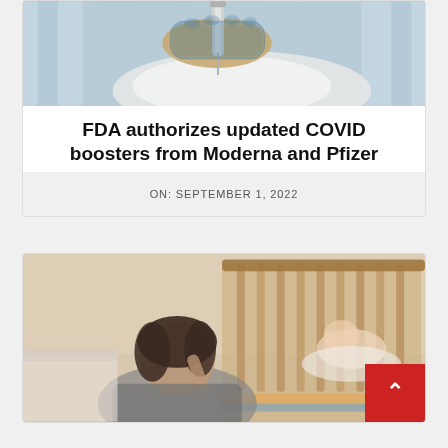[Figure (photo): Close-up of a gloved hand holding a syringe/needle, preparing a vaccine injection, with a blurred background of blue curtains and a white surface.]
FDA authorizes updated COVID boosters from Moderna and Pfizer
ON: SEPTEMBER 1, 2022
[Figure (photo): A tired or distressed woman with dark hair leaning forward with her hand on her head, with a wooden baby crib and a baby visible in the blurred background.]